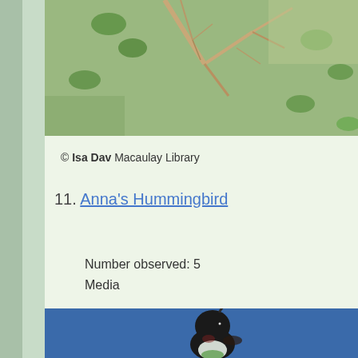[Figure (photo): Top portion of a bird photo showing bare branches and green leaves in background]
© Isa Dav Macaulay Library
11. Anna's Hummingbird
Number observed: 5
Media
[Figure (photo): Anna's Hummingbird photographed against a blue sky, showing dark head/throat and greenish breast feathers, beak pointing upward]